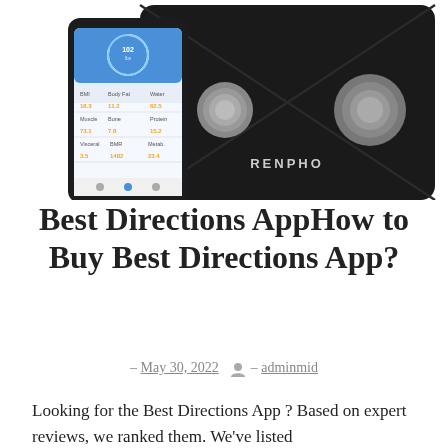[Figure (photo): Product photo of a RENPHO black body fat smart scale with a smartphone showing the companion app displaying weight (102 lbs) and body metrics data. The scale is square and black with two silver circular sensors, and the phone screen shows a blue circular gauge and a table of measurements.]
Best Directions AppHow to Buy Best Directions App?
– May 30, 2022  – adminmid
Looking for the Best Directions App ? Based on expert reviews, we ranked them. We've listed